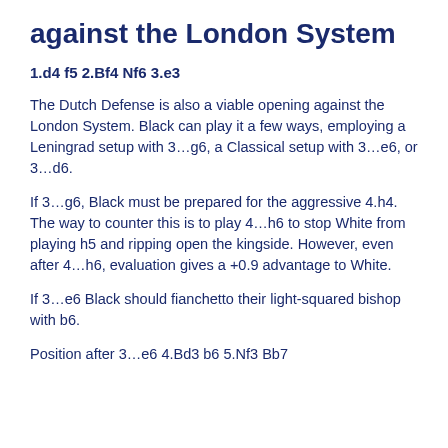against the London System
1.d4 f5 2.Bf4 Nf6 3.e3
The Dutch Defense is also a viable opening against the London System. Black can play it a few ways, employing a Leningrad setup with 3…g6, a Classical setup with 3…e6, or 3…d6.
If 3…g6, Black must be prepared for the aggressive 4.h4. The way to counter this is to play 4…h6 to stop White from playing h5 and ripping open the kingside. However, even after 4…h6, evaluation gives a +0.9 advantage to White.
If 3…e6 Black should fianchetto their light-squared bishop with b6.
Position after 3…e6 4.Bd3 b6 5.Nf3 Bb7